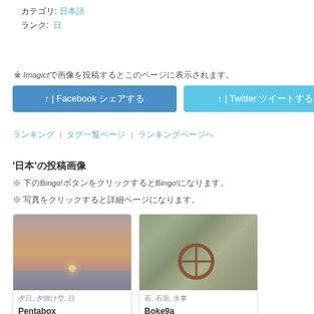カテゴリ: 日本語　ランク: 日
※ Imagictで画像を投稿するとこのページに表示されます。
↑ | Facebook シェアする　↑ | Twitter ツイートする
ランキング | タグ一覧ページ | ランキングページへ
'日本'の投稿画像
※ 下のBingo!ボタンをクリックするとBingo!になります。
※ 写真をクリックすると詳細ページになります。
[Figure (photo): Sunset over water with gradient sky]
夕日, 夕焼け空, 日　Pentabox
[Figure (photo): Stone wall with wooden waterwheel]
石, 石垣, 水車　Boke9a